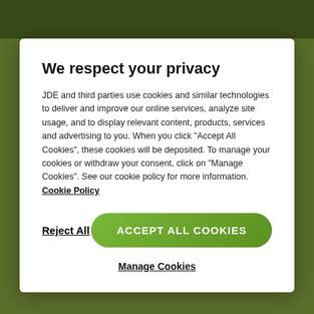We respect your privacy
JDE and third parties use cookies and similar technologies to deliver and improve our online services, analyze site usage, and to display relevant content, products, services and advertising to you. When you click "Accept All Cookies", these cookies will be deposited. To manage your cookies or withdraw your consent, click on "Manage Cookies". See our cookie policy for more information. Cookie Policy
Reject All
ACCEPT ALL COOKIES
Manage Cookies
JOIN OUR FAMILY
GET 30% OFF OF YOUR FIRST ORDER WHEN REGISTERING